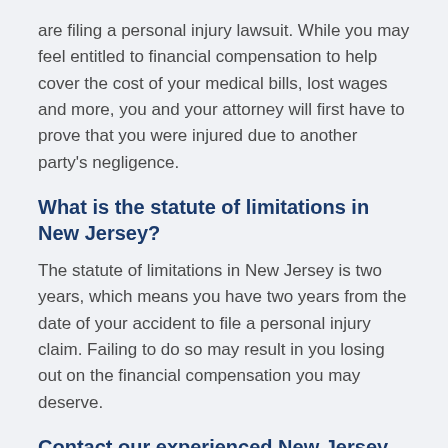are filing a personal injury lawsuit. While you may feel entitled to financial compensation to help cover the cost of your medical bills, lost wages and more, you and your attorney will first have to prove that you were injured due to another party's negligence.
What is the statute of limitations in New Jersey?
The statute of limitations in New Jersey is two years, which means you have two years from the date of your accident to file a personal injury claim. Failing to do so may result in you losing out on the financial compensation you may deserve.
Contact our experienced New Jersey firm
The law firm of Mattleman, Weinroth & Miller, P.C., is composed of experienced defense attorneys throughout